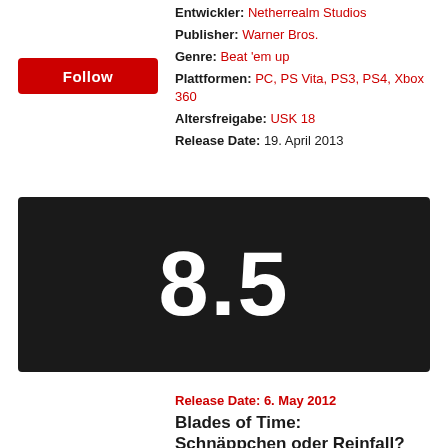Entwickler: Netherrealm Studios
Publisher: Warner Bros.
Genre: Beat 'em up
Plattformen: PC, PS Vita, PS3, PS4, Xbox 360
Altersfreigabe: USK 18
Release Date: 19. April 2013
Follow
[Figure (other): Dark rating banner showing score 8.5 in large white bold text on a near-black background]
Release Date: 6. May 2012
Blades of Time: Schnäppchen oder Reinfall?
Genre: Hack and Slay
Plattformen: Nintendo Switch, PC, PS3, Xbox 360
Altersfreigabe: USK 16